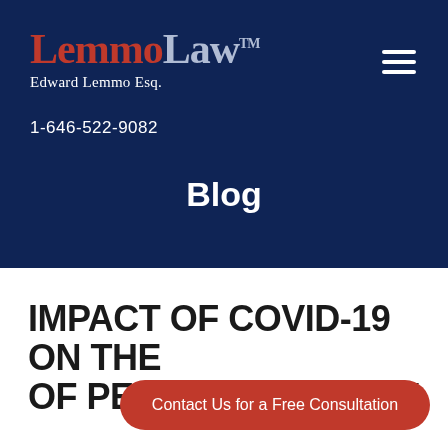[Figure (logo): LemmoLaw TM logo with text 'Edward Lemmo Esq.' below]
1-646-522-9082
Blog
IMPACT OF COVID-19 ON THE OF PERSONAL INJURY
Contact Us for a Free Consultation